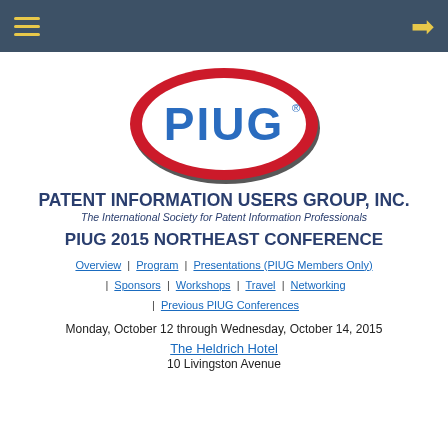PIUG navigation header bar
[Figure (logo): PIUG logo: oval shape with red border and black shadow, light blue letters PIUG with registered trademark symbol on white background]
PATENT INFORMATION USERS GROUP, INC.
The International Society for Patent Information Professionals
PIUG 2015 NORTHEAST CONFERENCE
Overview | Program | Presentations (PIUG Members Only) | Sponsors | Workshops | Travel | Networking | Previous PIUG Conferences
Monday, October 12 through Wednesday, October 14, 2015
The Heldrich Hotel
10 Livingston Avenue